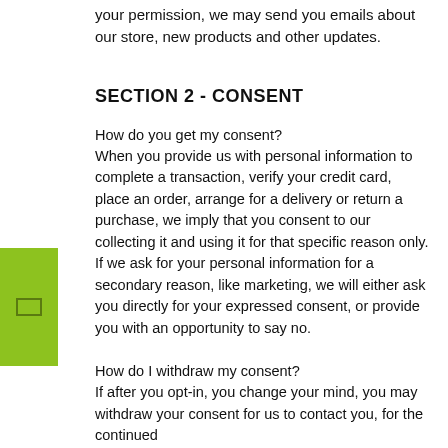your permission, we may send you emails about our store, new products and other updates.
SECTION 2 - CONSENT
How do you get my consent?
When you provide us with personal information to complete a transaction, verify your credit card, place an order, arrange for a delivery or return a purchase, we imply that you consent to our collecting it and using it for that specific reason only.
If we ask for your personal information for a secondary reason, like marketing, we will either ask you directly for your expressed consent, or provide you with an opportunity to say no.
How do I withdraw my consent?
If after you opt-in, you change your mind, you may withdraw your consent for us to contact you, for the continued